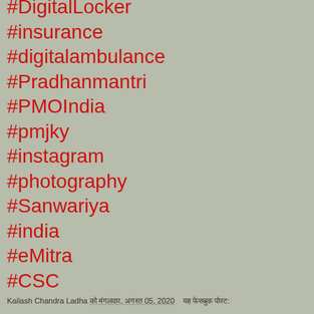#DigitalLocker
#insurance
#digitalambulance
#Pradhanmantri
#PMOIndia
#pmjky
#instagram
#photography
#Sanwariya
#india
#eMitra
#CSC
#mlm2020
#AatamNirbharBharat
Kailash Chandra Ladha को मंगलवार, अगस्त 05, 2020    यह फेसबुक पोस्ट: